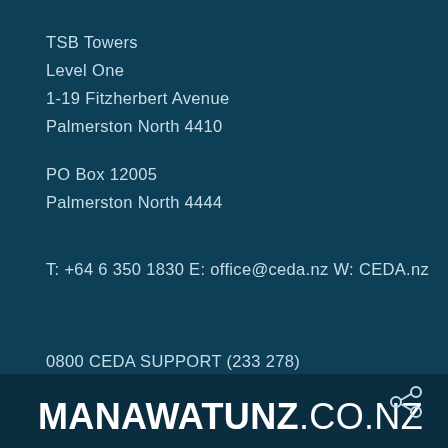TSB Towers
Level One
1-19 Fitzherbert Avenue
Palmerston North 4410

PO Box 12005
Palmerston North 4444
T: +64 6 350 1830
E: office@ceda.nz
W: CEDA.nz
0800 CEDA SUPPORT (233 278)
[Figure (logo): MANAWATUNZ.CO.NZ logo in white bold uppercase text with a share icon to the right]